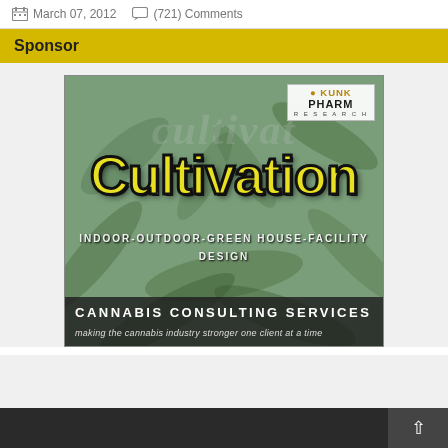March 07, 2012   (721) Comments
Sponsor
[Figure (illustration): Advertisement for Cultivation Cannabis Consulting Services featuring Skunk Pharm Research logo, large stylized 'Cultivation' text over a cannabis plant background, subtitle 'INDOOR-OUTDOOR-GREEN HOUSE-FACILITY DESIGN', and tagline 'making the cannabis industry stronger one client at a time']